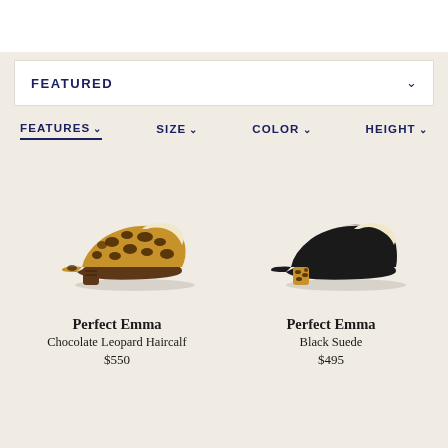FEATURED
FEATURES  SIZE  COLOR  HEIGHT
[Figure (photo): Leopard print haircalf pointed-toe pump with block heel (Perfect Emma, Chocolate Leopard Haircalf)]
Perfect Emma
Chocolate Leopard Haircalf
$550
[Figure (photo): Black suede pointed-toe pump with leopard print block heel (Perfect Emma, Black Suede)]
Perfect Emma
Black Suede
$495